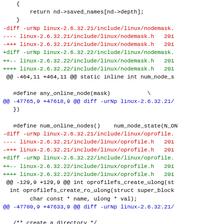Code diff showing changes to Linux kernel header files including nodemask.h and oprofile.h between versions 2.6.32.21 and 2.6.32.22